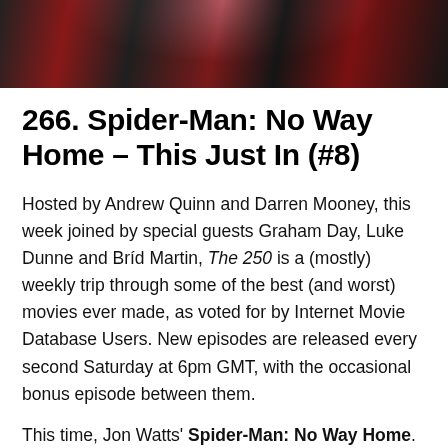[Figure (photo): Close-up photo of Spider-Man costume showing red and black suit details]
266. Spider-Man: No Way Home – This Just In (#8)
Hosted by Andrew Quinn and Darren Mooney, this week joined by special guests Graham Day, Luke Dunne and Bríd Martin, The 250 is a (mostly) weekly trip through some of the best (and worst) movies ever made, as voted for by Internet Movie Database Users. New episodes are released every second Saturday at 6pm GMT, with the occasional bonus episode between them.
This time, Jon Watts' Spider-Man: No Way Home.
Peter Parker returns home from a school trip to discover that his deepest secret has been revealed to the world;